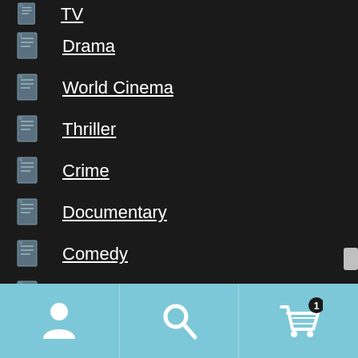TV
Drama
World Cinema
Thriller
Crime
Documentary
Comedy
Film-Noir
Music
[Figure (screenshot): Bottom navigation bar with user icon, search icon, and shopping cart icon with badge showing 1]